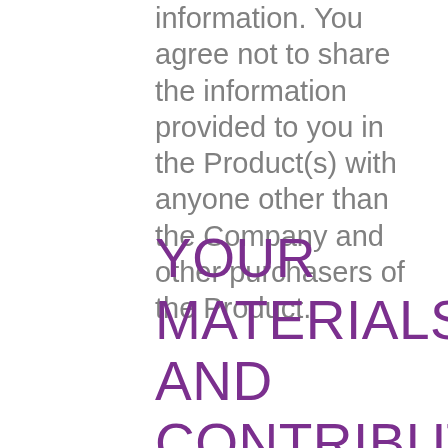information. You agree not to share the information provided to you in the Product(s) with anyone other than the Company and other purchasers of the Product.
YOUR MATERIALS AND CONTRIBUTIONS